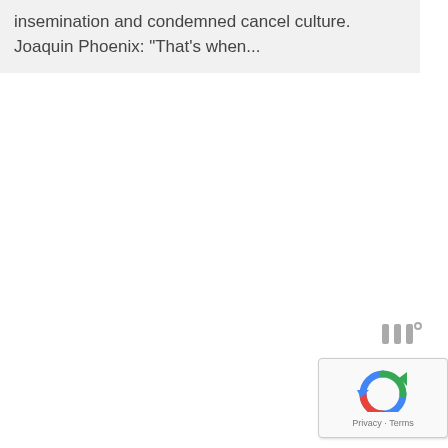insemination and condemned cancel culture. Joaquin Phoenix: "That's when..."
[Figure (logo): Weather or similar service icon showing three vertical bars with a degree symbol]
[Figure (logo): Google reCAPTCHA logo with Privacy and Terms links]